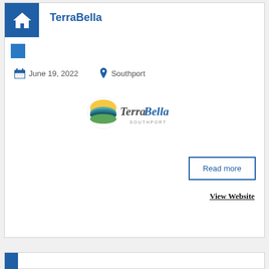TerraBella
June 19, 2022
Southport
[Figure (logo): TerraBella Southport logo with circular sun/landscape icon and stylized script text]
Read more
View Website